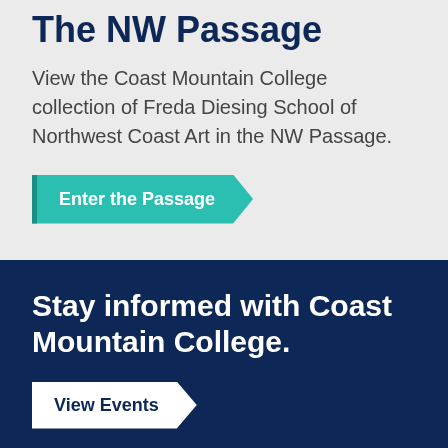The NW Passage
View the Coast Mountain College collection of Freda Diesing School of Northwest Coast Art in the NW Passage.
Enter the Passage
Stay informed with Coast Mountain College.
View Events